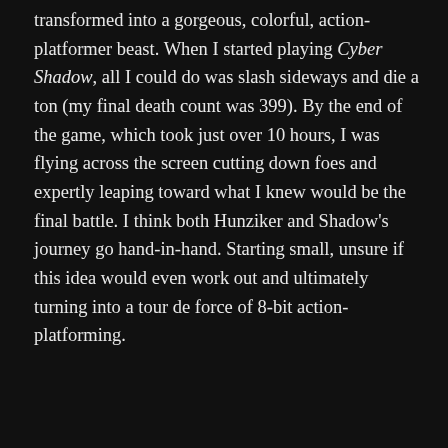transformed into a gorgeous, colorful, action-platformer beast. When I started playing Cyber Shadow, all I could do was slash sideways and die a ton (my final death count was 399). By the end of the game, which took just over 10 hours, I was flying across the screen cutting down foes and expertly leaping toward what I knew would be the final battle. I think both Hunziker and Shadow's journey go hand-in-hand. Starting small, unsure if this idea would even work out and ultimately turning into a tour de force of 8-bit action-platforming.